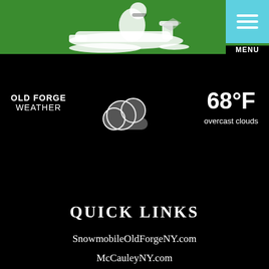[Figure (illustration): Green banner with white snowmobile and rider silhouette, with a teal/cyan menu button (hamburger icon) in the top right corner showing three horizontal bars]
MENU
OLD FORGE WEATHER
[Figure (illustration): Dark gray cloud icon representing overcast weather]
68°F overcast clouds
QUICK LINKS
SnowmobileOldForgeNY.com
McCauleyNY.com
VisitMyAdirondacks.com
RideOldForgeMTB.com
FAQs Snowmobile Permits